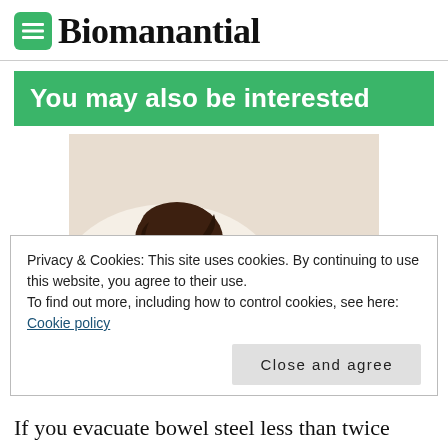Biomanantial
You may also be interested
[Figure (photo): Woman lying on her side in bed, holding her abdomen, appearing to be in discomfort or sleeping, wearing a light yellow top]
Privacy & Cookies: This site uses cookies. By continuing to use this website, you agree to their use.
To find out more, including how to control cookies, see here: Cookie policy
Close and agree
If you evacuate bowel steel less than twice